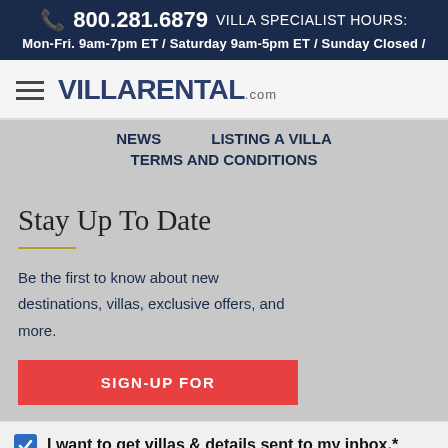📞 800.281.6879  VILLA SPECIALIST HOURS: Mon-Fri. 9am-7pm ET / Saturday 9am-5pm ET / Sunday Closed /
[Figure (logo): VillaRental.com logo with hamburger menu icon on the left]
NEWS   LISTING A VILLA   TERMS AND CONDITIONS
Stay Up To Date
Be the first to know about new destinations, villas, exclusive offers, and more.
SIGN-UP FOR
I want to get villas & details sent to my inbox.*
SEND INQUIRY